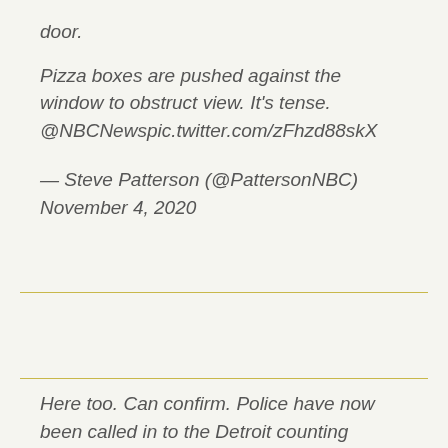door.
Pizza boxes are pushed against the window to obstruct view. It’s tense. @NBCNewspic.twitter.com/zFhzd88skX
— Steve Patterson (@PattersonNBC) November 4, 2020
Here too. Can confirm. Police have now been called in to the Detroit counting